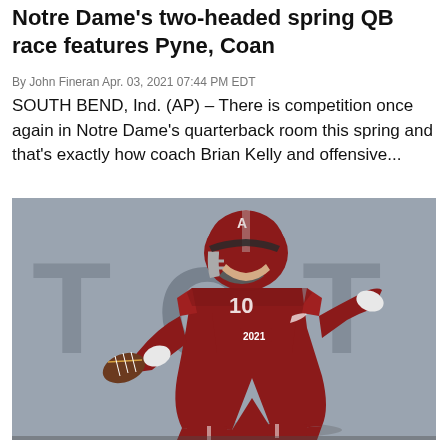Notre Dame's two-headed spring QB race features Pyne, Coan
By John Fineran Apr. 03, 2021 07:44 PM EDT
SOUTH BEND, Ind. (AP) – There is competition once again in Notre Dame's quarterback room this spring and that's exactly how coach Brian Kelly and offensive...
[Figure (photo): Alabama quarterback Mac Jones wearing crimson jersey number 10 with '2021' patch, in throwing motion during a game]